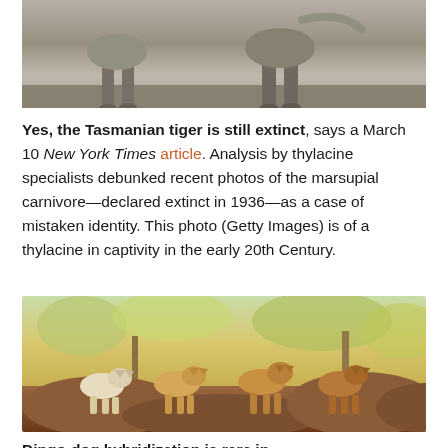[Figure (photo): Black and white photograph of a thylacine (Tasmanian tiger) in captivity, showing the animal's legs and lower body]
Yes, the Tasmanian tiger is still extinct, says a March 10 New York Times article. Analysis by thylacine specialists debunked recent photos of the marsupial carnivore—declared extinct in 1936—as a case of mistaken identity. This photo (Getty Images) is of a thylacine in captivity in the early 20th Century.
[Figure (photo): Color photograph of four dingoes standing on rocky terrain with trees in the background]
Dingo-dog hybridization is rare in